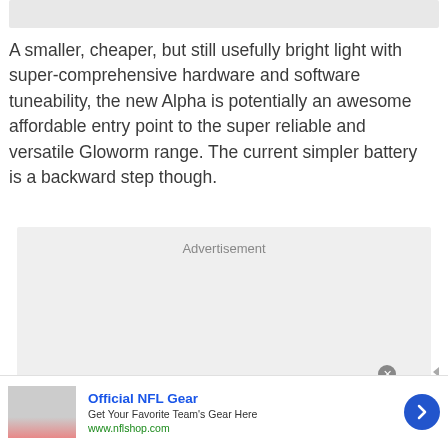[Figure (photo): Partial image bar at top of page, light gray cropped image strip]
A smaller, cheaper, but still usefully bright light with super-comprehensive hardware and software tuneability, the new Alpha is potentially an awesome affordable entry point to the super reliable and versatile Gloworm range. The current simpler battery is a backward step though.
[Figure (other): Advertisement placeholder box with gray background and 'Advertisement' label]
[Figure (infographic): Bottom banner ad: Official NFL Gear - Get Your Favorite Team's Gear Here - www.nflshop.com, with image, text, and arrow button]